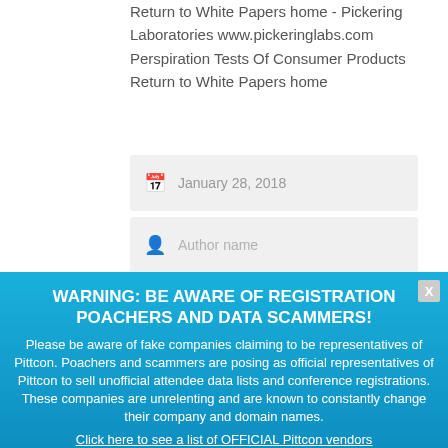Return to White Papers home - Pickering Laboratories www.pickeringlabs.com
Perspiration Tests Of Consumer Products
Return to White Papers home
January 28, 2018
Author name (greyed)
Section Author, White Papers
WARNING: BE AWARE OF REGISTRATION POACHERS AND DATA SCAMMERS! Please be aware of fake companies claiming to be representatives of Pittcon. Poachers and scammers are posing as official representatives of Pittcon to sell unofficial attendee data lists and conference registrations. These companies are unrelenting and are known to constantly change their company and domain names. Click here to see a list of OFFICIAL Pittcon vendors